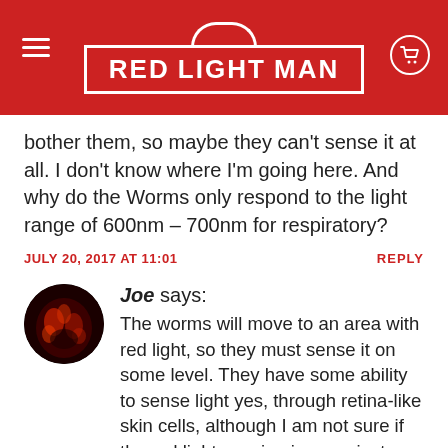RED·LIGHT·MAN
bother them, so maybe they can't sense it at all. I don't know where I'm going here. And why do the Worms only respond to the light range of 600nm – 700nm for respiratory?
JULY 20, 2017 AT 11:01   REPLY
Joe says: The worms will move to an area with red light, so they must sense it on some level. They have some ability to sense light yes, through retina-like skin cells, although I am not sure if the red light sensing is more just a relaxing feeling they get (which attracts them).